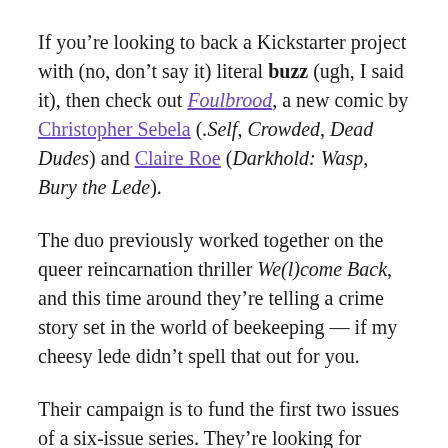If you're looking to back a Kickstarter project with (no, don't say it) literal buzz (ugh, I said it), then check out Foulbrood, a new comic by Christopher Sebela (.Self, Crowded, Dead Dudes) and Claire Roe (Darkhold: Wasp, Bury the Lede).
The duo previously worked together on the queer reincarnation thriller We(l)come Back, and this time around they're telling a crime story set in the world of beekeeping — if my cheesy lede didn't spell that out for you.
Their campaign is to fund the first two issues of a six-issue series. They're looking for $15,000 to bring them to print, and you've got until Dec. 11 to help them avoid the sting that comes